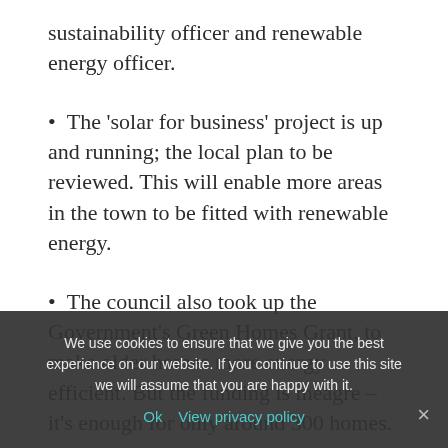sustainability officer and renewable energy officer.
The 'solar for business' project is up and running; the local plan to be reviewed. This will enable more areas in the town to be fitted with renewable energy.
The council also took up the Government's Green Homes Grant, to make older homes more energy efficient. But the funding is meagre – it's enough for only around 300 homes.
The council's next step is to borrow BIG on renewable energy with £5m being earmarked for capital projects. The residents will comment and tell us how they want this £5m spent.
We use cookies to ensure that we give you the best experience on our website. If you continue to use this site we will assume that you are happy with it. Ok  View privacy policy